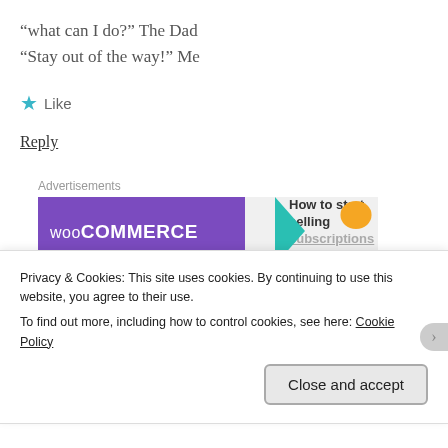“what can I do?” The Dad
“Stay out of the way!” Me
★ Like
Reply
[Figure (screenshot): WooCommerce advertisement banner: purple background with WooCommerce logo and teal arrow, light grey section reading 'How to start selling subscriptions online', orange accent shape in top right]
Monkey Smiles
Privacy & Cookies: This site uses cookies. By continuing to use this website, you agree to their use.
To find out more, including how to control cookies, see here: Cookie Policy
Close and accept